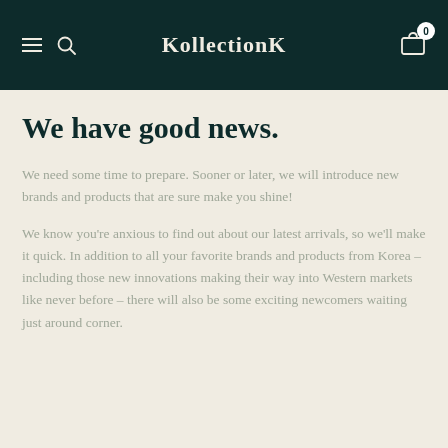KollectionK
We have good news.
We need some time to prepare. Sooner or later, we will introduce new brands and products that are sure make you shine!
We know you're anxious to find out about our latest arrivals, so we'll make it quick. In addition to all your favorite brands and products from Korea – including those new innovations making their way into Western markets like never before – there will also be some exciting newcomers waiting just around corner.